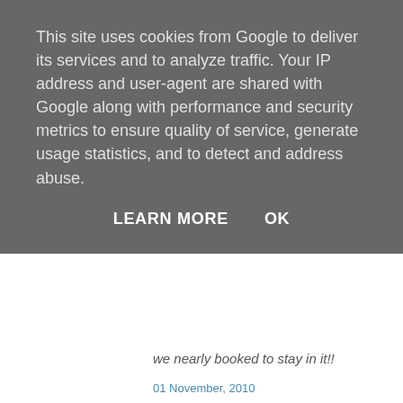This site uses cookies from Google to deliver its services and to analyze traffic. Your IP address and user-agent are shared with Google along with performance and security metrics to ensure quality of service, generate usage statistics, and to detect and address abuse.
LEARN MORE   OK
we nearly booked to stay in it!!
01 November, 2010
Cindy Lietz, Polymer Clay Tutor said...
I absolutely love your art piece Carolyn! You have captu... perfectly!!
01 November, 2010
Unknown said...
Hi, I have just stumbled across this blog and I love it! I a... and Textiles and your work has really inspired me to exp... Beautiful work!